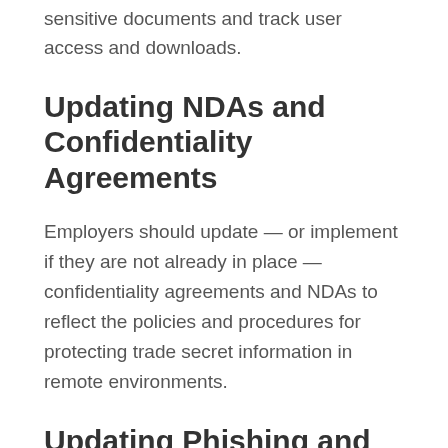sensitive documents and track user access and downloads.
Updating NDAs and Confidentiality Agreements
Employers should update — or implement if they are not already in place — confidentiality agreements and NDAs to reflect the policies and procedures for protecting trade secret information in remote environments.
Updating Phishing and Spam Protocols